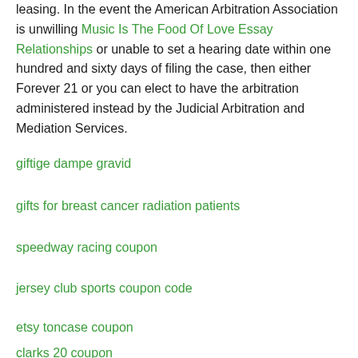leasing. In the event the American Arbitration Association is unwilling Music Is The Food Of Love Essay Relationships or unable to set a hearing date within one hundred and sixty days of filing the case, then either Forever 21 or you can elect to have the arbitration administered instead by the Judicial Arbitration and Mediation Services.
giftige dampe gravid
gifts for breast cancer radiation patients
speedway racing coupon
jersey club sports coupon code
etsy toncase coupon
clarks 20 coupon